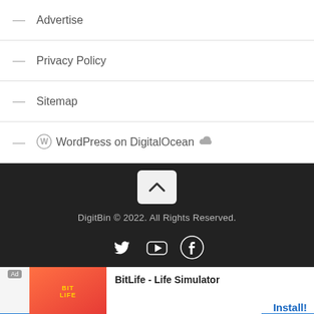— Advertise
— Privacy Policy
— Sitemap
— WordPress on DigitalOcean
[Figure (other): Back to top chevron button]
DigitBin © 2022. All Rights Reserved.
[Figure (other): Social media icons: Twitter, YouTube, Facebook]
[Figure (other): Advertisement banner: BitLife - Life Simulator app ad with Install button]